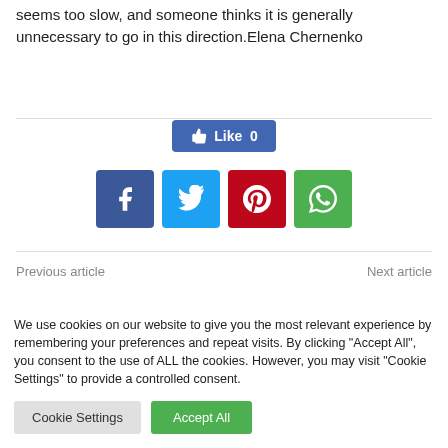seems too slow, and someone thinks it is generally unnecessary to go in this direction.Elena Chernenko
[Figure (other): Facebook Like button showing count of 0]
[Figure (other): Social share buttons: Facebook, Twitter, Pinterest, WhatsApp]
Previous article
Next article
We use cookies on our website to give you the most relevant experience by remembering your preferences and repeat visits. By clicking "Accept All", you consent to the use of ALL the cookies. However, you may visit "Cookie Settings" to provide a controlled consent.
Cookie Settings
Accept All